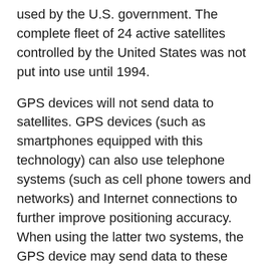used by the U.S. government. The complete fleet of 24 active satellites controlled by the United States was not put into use until 1994.
GPS devices will not send data to satellites. GPS devices (such as smartphones equipped with this technology) can also use telephone systems (such as cell phone towers and networks) and Internet connections to further improve positioning accuracy. When using the latter two systems, the GPS device may send data to these systems.
Since the GPS satellite system is owned by the US government, it can selectively deny or restrict access to the network, and other countries have also developed their own GPS satellite networks. These include: